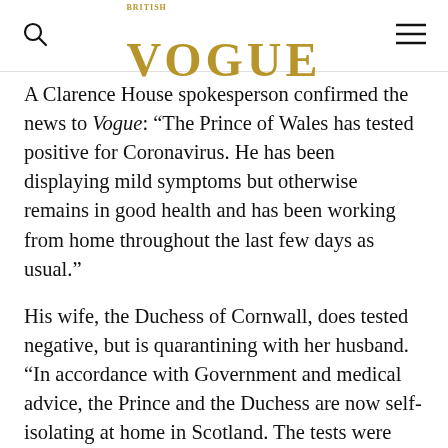VOGUE
A Clarence House spokesperson confirmed the news to Vogue: “The Prince of Wales has tested positive for Coronavirus. He has been displaying mild symptoms but otherwise remains in good health and has been working from home throughout the last few days as usual.”
His wife, the Duchess of Cornwall, does tested negative, but is quarantining with her husband. “In accordance with Government and medical advice, the Prince and the Duchess are now self-isolating at home in Scotland. The tests were carried out by the NHS in Aberdeenshire where they met the criteria required for testing.”